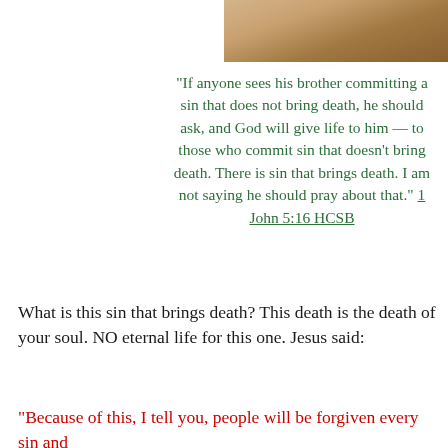[Figure (photo): Partial photo strip visible at top right of page, showing warm brown/tan tones, appears to be a hand or fingers]
“If anyone sees his brother committing a sin that does not bring death, he should ask, and God will give life to him — to those who commit sin that doesn’t bring death. There is sin that brings death. I am not saying he should pray about that.” 1 John 5:16 HCSB
What is this sin that brings death? This death is the death of your soul. NO eternal life for this one. Jesus said:
“Because of this, I tell you, people will be forgiven every sin and